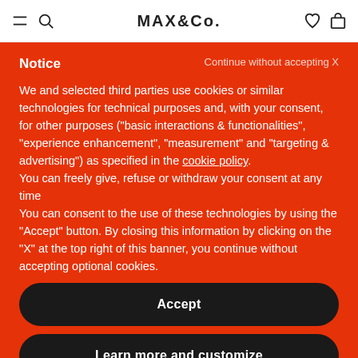MAX&Co.
Notice
Continue without accepting X
We and selected third parties use cookies or similar technologies for technical purposes and, with your consent, for other purposes ("basic interactions & functionalities", "experience enhancement", "measurement" and "targeting & advertising") as specified in the cookie policy.
You can freely give, refuse or withdraw your consent at any time
You can consent to the use of these technologies by using the "Accept" button. By closing this information by clicking on the "X" at the top right of this banner, you continue without accepting optional cookies.
Accept
Learn more and customize